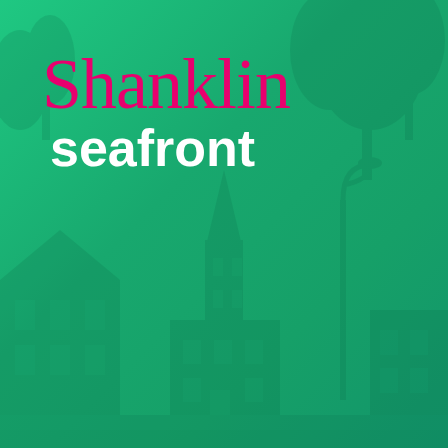[Figure (illustration): Cover page with green teal background overlaying a faint photograph of a seafront street scene with buildings and trees. The background shows architectural silhouettes in a darker teal tone.]
Shanklin seafront